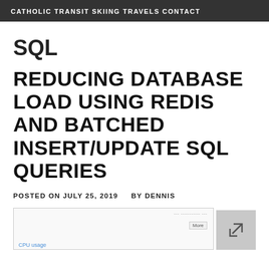CATHOLIC TRANSIT SKIING TRAVELS CONTACT
SQL
REDUCING DATABASE LOAD USING REDIS AND BATCHED INSERT/UPDATE SQL QUERIES
POSTED ON JULY 25, 2019   BY DENNIS
[Figure (screenshot): Screenshot of a monitoring dashboard showing CPU usage graph with a More button]